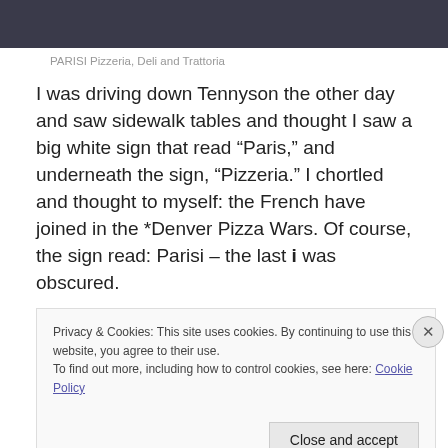[Figure (photo): Dark photograph partially visible at top of page, appears to be a restaurant exterior]
PARISI Pizzeria, Deli and Trattoria
I was driving down Tennyson the other day and saw sidewalk tables and thought I saw a big white sign that read “Paris,” and underneath the sign, “Pizzeria.” I chortled and thought to myself: the French have joined in the *Denver Pizza Wars. Of course, the sign read: Parisi – the last i was obscured.
Privacy & Cookies: This site uses cookies. By continuing to use this website, you agree to their use.
To find out more, including how to control cookies, see here: Cookie Policy